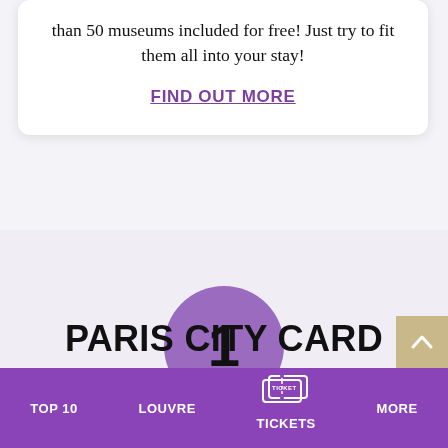than 50 museums included for free! Just try to fit them all into your stay!
FIND OUT MORE
[Figure (other): Purple circle with large bold number 1 inside]
PARIS CITY CARD
TOP 10   LOUVRE   TICKETS   MORE